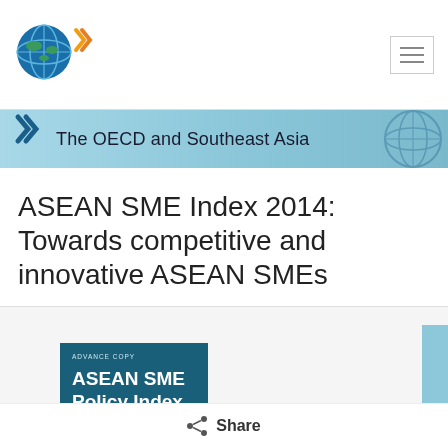[Figure (logo): OECD globe logo with blue and green colors]
[Figure (logo): OECD Southeast Asia banner with globe watermark]
The OECD and Southeast Asia
ASEAN SME Index 2014: Towards competitive and innovative ASEAN SMEs
[Figure (photo): Book cover: ASEAN SME Policy Index 2014 - Towards Competitive and Innovative ASEAN SMEs (Advance Copy)]
Released a…
Share